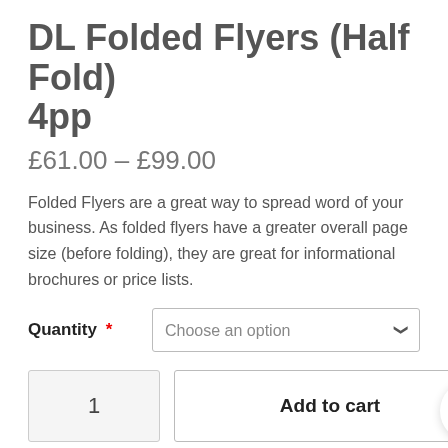DL Folded Flyers (Half Fold) 4pp
£61.00 – £99.00
Folded Flyers are a great way to spread word of your business. As folded flyers have a greater overall page size (before folding), they are great for informational brochures or price lists.
Quantity * [Choose an option dropdown]
1  Add to cart  [cart icon with 0]
SKU: N/A  Categories: Printing, Styling, Folded...